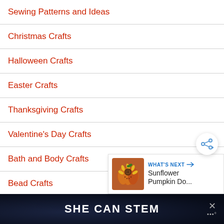Sewing Patterns and Ideas
Christmas Crafts
Halloween Crafts
Easter Crafts
Thanksgiving Crafts
Valentine's Day Crafts
Bath and Body Crafts
Bead Crafts
Candle Making
Gifts...
[Figure (screenshot): Share button overlay (circular white button with share icon)]
[Figure (infographic): What's Next panel showing a Sunflower Pumpkin Do... thumbnail with label WHAT'S NEXT and arrow]
[Figure (infographic): Bottom ad banner: SHE CAN STEM with close X button]